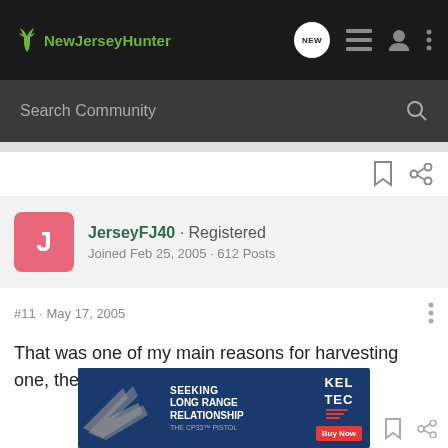NewJerseyHunter
Search Community
JerseyFJ40 · Registered
Joined Feb 25, 2005 · 612 Posts
#11 · May 17, 2005
That was one of my main reasons for harvesting one, they eat too many ducklings.
[Figure (screenshot): Advertisement banner for Kel-Tec CP33 pistol with text: SEEKING LONG RANGE RELATIONSHIP, THE CP33 PISTOL, Buy Now]